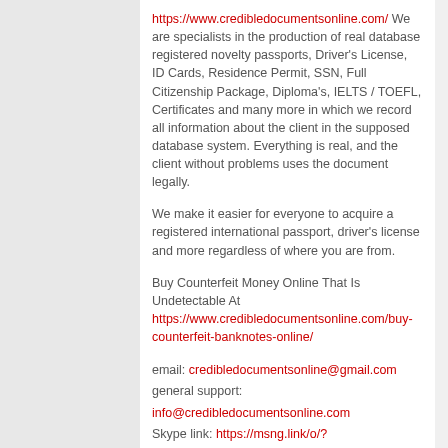https://www.credibledocumentsonline.com/ We are specialists in the production of real database registered novelty passports, Driver's License, ID Cards, Residence Permit, SSN, Full Citizenship Package, Diploma's, IELTS / TOEFL, Certificates and many more in which we record all information about the client in the supposed database system. Everything is real, and the client without problems uses the document legally.
We make it easier for everyone to acquire a registered international passport, driver's license and more regardless of where you are from.
Buy Counterfeit Money Online That Is Undetectable At https://www.credibledocumentsonline.com/buy-counterfeit-banknotes-online/
email: credibledocumentsonline@gmail.com
general support: info@credibledocumentsonline.com
Skype link: https://msng.link/o/?live:.cid.40df649e11a5bfa8=sk